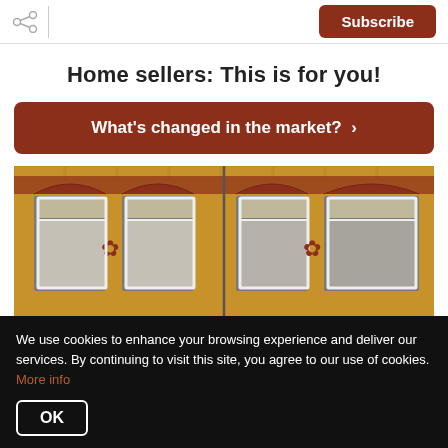Subscribe
Home sellers: This is for you!
What's changed in the market? ›
[Figure (photo): Brick building facade with two sets of windows, yellow/orange brick with red brick decorative arches above windows]
We use cookies to enhance your browsing experience and deliver our services. By continuing to visit this site, you agree to our use of cookies. More info
OK